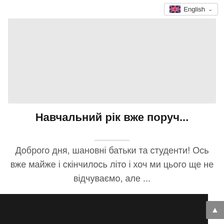[Figure (screenshot): Language selector dropdown showing English with UK flag in top-right area]
[Figure (photo): Large light-gray image placeholder area below the language selector]
Навчальний рік вже поруч...
Доброго дня, шановні батьки та студенти! Ось вже майже і скінчилось літо і хоч ми цього ще не відчуваємо, але ...
[Figure (photo): Dark black image strip at the bottom of the page, partially visible]